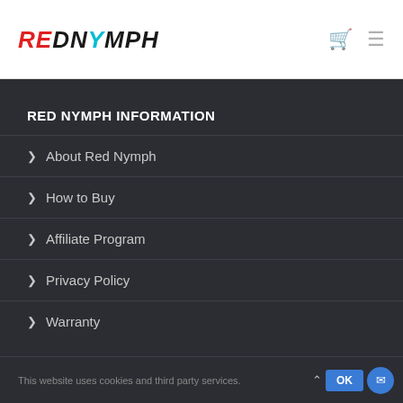REDNYMPH
RED NYMPH INFORMATION
About Red Nymph
How to Buy
Affiliate Program
Privacy Policy
Warranty
This website uses cookies and third party services.